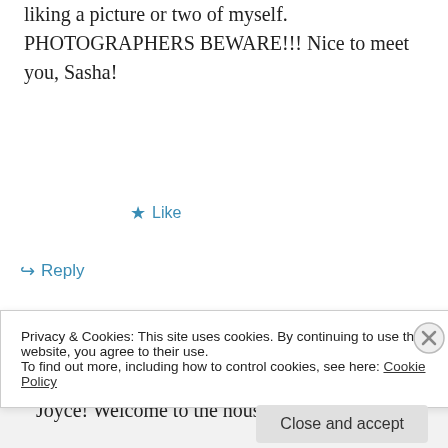liking a picture or two of myself. PHOTOGRAPHERS BEWARE!!! Nice to meet you, Sasha!
★ Like
↪ Reply
Sasha on April 13, 2014 at 12:08 pm
Joyce! Welcome to the house…and GIRL ~
Privacy & Cookies: This site uses cookies. By continuing to use this website, you agree to their use.
To find out more, including how to control cookies, see here: Cookie Policy
Close and accept